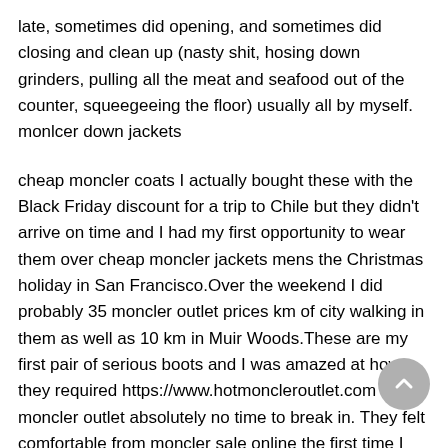late, sometimes did opening, and sometimes did closing and clean up (nasty shit, hosing down grinders, pulling all the meat and seafood out of the counter, squeegeeing the floor) usually all by myself. monlcer down jackets
cheap moncler coats I actually bought these with the Black Friday discount for a trip to Chile but they didn't arrive on time and I had my first opportunity to wear them over cheap moncler jackets mens the Christmas holiday in San Francisco.Over the weekend I did probably 35 moncler outlet prices km of city walking in them as well as 10 km in Muir Woods.These are my first pair of serious boots and I was amazed at how they required https://www.hotmoncleroutlet.com moncler outlet absolutely no time to break in. They felt comfortable from moncler sale online the first time I wore them. I read so